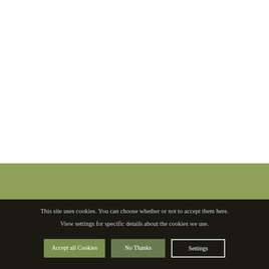This site uses cookies. You can choose whether or not to accept them here.
View settings for specific details about the cookies we use.
Accept all Cookies
No Thanks
Settings